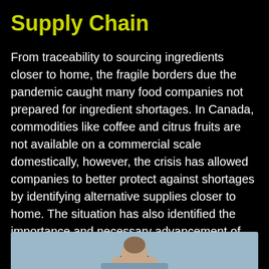Supply Chain
From traceability to sourcing ingredients closer to home, the fragile borders due the pandemic caught many food companies not prepared for ingredient shortages. In Canada, commodities like coffee and citrus fruits are not available on a commercial scale domestically, however, the crisis has allowed companies to better protect against shortages by identifying alternative supplies closer to home. The situation has also identified the importance and necessary advancement of technology from the gate to the plate.
[Figure (photo): Partial photo at bottom of page showing a person, possibly a speaker or subject, cropped]